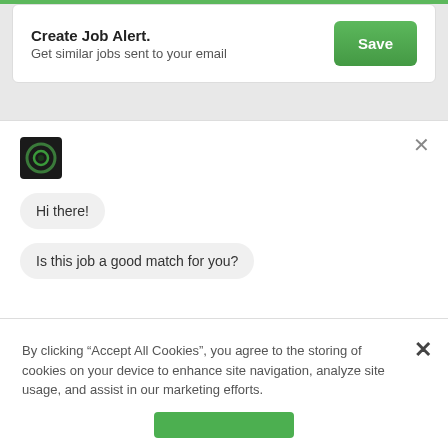Create Job Alert.
Get similar jobs sent to your email
[Figure (screenshot): Chat popup widget with avatar icon, 'Hi there!' bubble, 'Is this job a good match for you?' bubble, and two buttons: 'Yeah, it's great!' and 'Not really...']
By clicking “Accept All Cookies”, you agree to the storing of cookies on your device to enhance site navigation, analyze site usage, and assist in our marketing efforts.